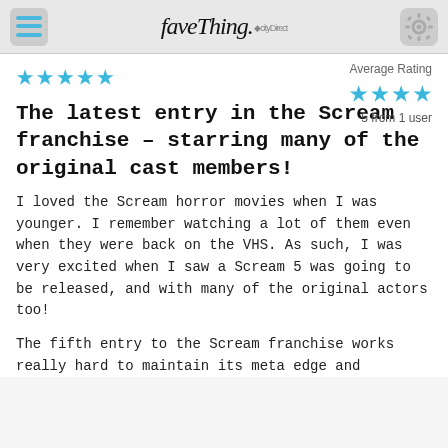faveThing. citydirect
[Figure (other): 5 blue star rating icons (top-left, partially visible)]
Average Rating
5 from 1 user
[Figure (other): 4 large blue star icons representing average rating of 5]
The latest entry in the Scream franchise – starring many of the original cast members!
I loved the Scream horror movies when I was younger. I remember watching a lot of them even when they were back on the VHS. As such, I was very excited when I saw a Scream 5 was going to be released, and with many of the original actors too!
The fifth entry to the Scream franchise works really hard to maintain its meta edge and